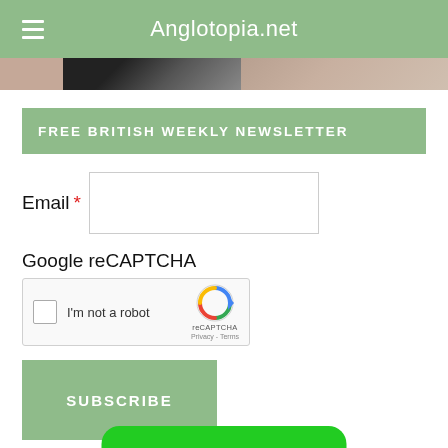Anglotopia.net
[Figure (photo): Partial view of a photo strip showing dark and light colored imagery]
FREE BRITISH WEEKLY NEWSLETTER
Email *
Google reCAPTCHA
[Figure (screenshot): Google reCAPTCHA widget with checkbox 'I'm not a robot' and reCAPTCHA logo with Privacy and Terms links]
SUBSCRIBE